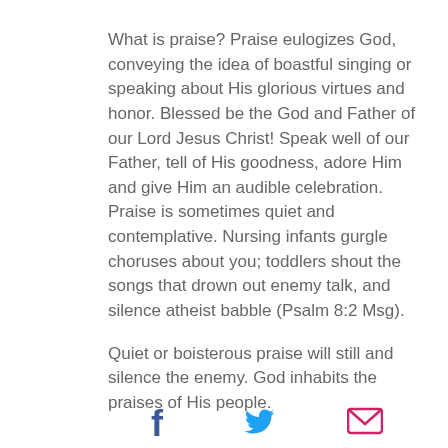What is praise? Praise eulogizes God, conveying the idea of boastful singing or speaking about His glorious virtues and honor. Blessed be the God and Father of our Lord Jesus Christ! Speak well of our Father, tell of His goodness, adore Him and give Him an audible celebration. Praise is sometimes quiet and contemplative. Nursing infants gurgle choruses about you; toddlers shout the songs that drown out enemy talk, and silence atheist babble (Psalm 8:2 Msg).
Quiet or boisterous praise will still and silence the enemy. God inhabits the praises of His people.
[Figure (other): Social sharing icons: Facebook (f), Twitter (bird), Email (envelope)]